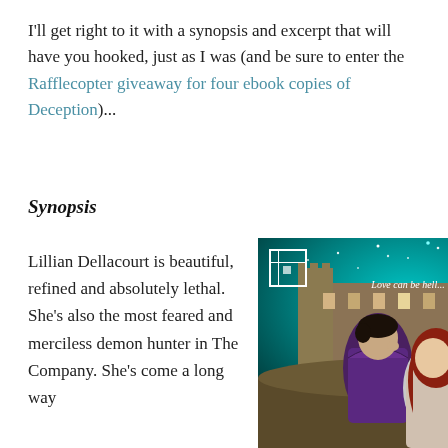I'll get right to it with a synopsis and excerpt that will have you hooked, just as I was (and be sure to enter the Rafflecopter giveaway for four ebook copies of Deception)...
Synopsis
Lillian Dellacourt is beautiful, refined and absolutely lethal. She's also the most feared and merciless demon hunter in The Company. She's come a long way
[Figure (illustration): Book cover for 'Deception' showing a couple (man in purple brocade jacket, woman with red hair) leaning toward each other in front of a castle under a starry teal sky. Text on cover reads 'Love can be hell...' with a small window logo.]